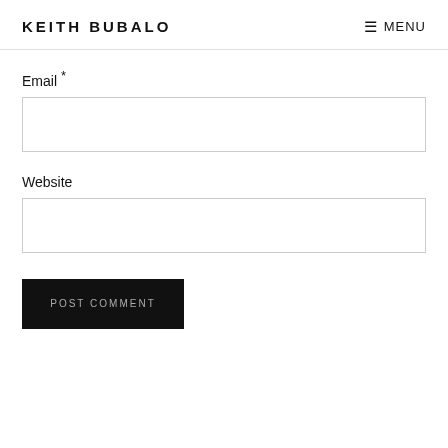KEITH BUBALO  ☰ MENU
Email *
Website
POST COMMENT